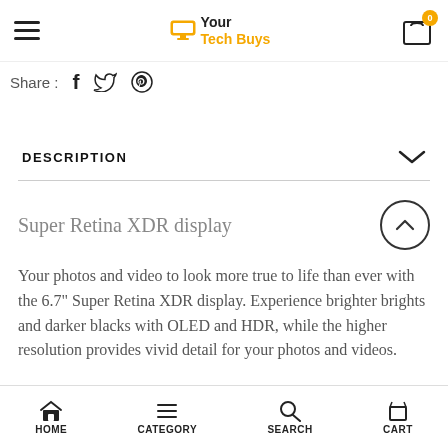Your Tech Buys — nav bar with hamburger menu and cart (0 items)
Share : [Facebook] [Twitter] [Pinterest]
DESCRIPTION
Super Retina XDR display
Your photos and video to look more true to life than ever with the 6.7" Super Retina XDR display. Experience brighter brights and darker blacks with OLED and HDR, while the higher resolution provides vivid detail for your photos and videos.
HOME   CATEGORY   SEARCH   CART